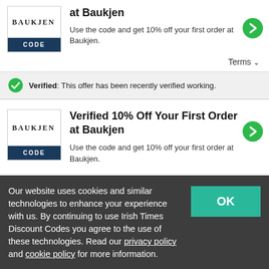[Figure (logo): Baukjen brand logo with CODE button below]
at Baukjen
Use the code and get 10% off your first order at Baukjen.
Terms ∨
Verified: This offer has been recently verified working.
[Figure (logo): Baukjen brand logo with CODE button below]
Verified 10% Off Your First Order at Baukjen
Use the code and get 10% off your first order at Baukjen.
Our website uses cookies and similar technologies to enhance your experience with us. By continuing to use Irish Times Discount Codes you agree to the use of these technologies. Read our privacy policy and cookie policy for more information.